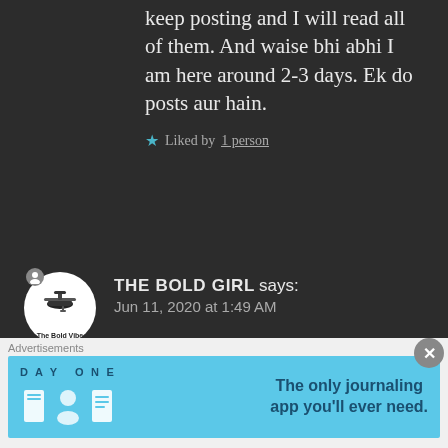keep posting and I will read all of them. And waise bhi abhi I am here around 2-3 days. Ek do posts aur hain.
★ Liked by 1 person
THE BOLD GIRL says: Jun 11, 2020 at 1:49 AM
Are you down? 🙂
Well reasons, I just guessed. 😬
Advertisements
[Figure (screenshot): DAY ONE app advertisement banner - The only journaling app you'll ever need.]